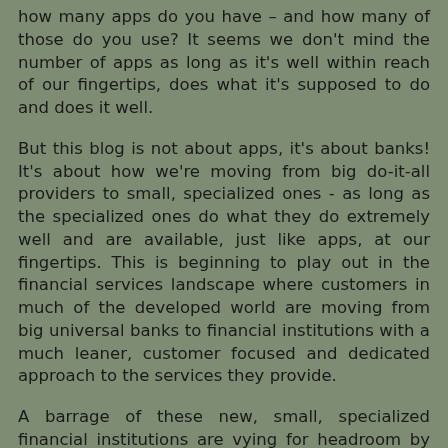how many apps do you have – and how many of those do you use? It seems we don't mind the number of apps as long as it's well within reach of our fingertips, does what it's supposed to do and does it well.
But this blog is not about apps, it's about banks! It's about how we're moving from big do-it-all providers to small, specialized ones - as long as the specialized ones do what they do extremely well and are available, just like apps, at our fingertips. This is beginning to play out in the financial services landscape where customers in much of the developed world are moving from big universal banks to financial institutions with a much leaner, customer focused and dedicated approach to the services they provide.
A barrage of these new, small, specialized financial institutions are vying for headroom by carving unique positions across the UK, Nordics and Northern Europe and this could well reach much of western and southern Europe once confidence returns to the market. Some of these players focus on the second tier of credit to personal customers (whom the large financial institutions won't lend